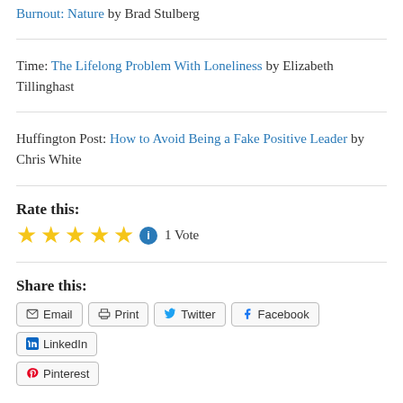Burnout: Nature by Brad Stulberg
Time: The Lifelong Problem With Loneliness by Elizabeth Tillinghast
Huffington Post: How to Avoid Being a Fake Positive Leader by Chris White
Rate this:
★★★★★ ℹ 1 Vote
Share this:
Email
Print
Twitter
Facebook
LinkedIn
Pinterest